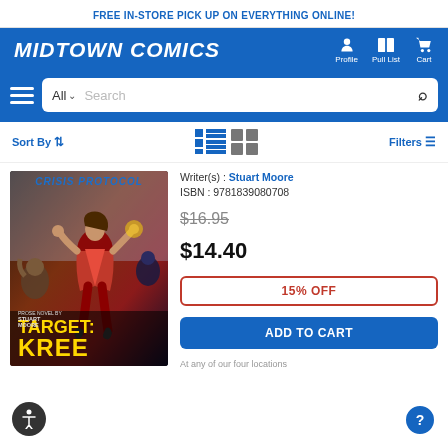FREE IN-STORE PICK UP ON EVERYTHING ONLINE!
[Figure (logo): Midtown Comics logo in white italic bold text on blue background with Profile, Pull List, Cart nav icons]
[Figure (screenshot): Search bar with hamburger menu, All category dropdown, and Search input field]
Sort By
Filters
[Figure (photo): Book cover for Crisis Protocol: Target Kree by Stuart Moore. Features a superhero figure on an action scene background with yellow title text.]
Writer(s) : Stuart Moore
ISBN : 9781839080708
$16.95
$14.40
15% OFF
ADD TO CART
At any of our four locations